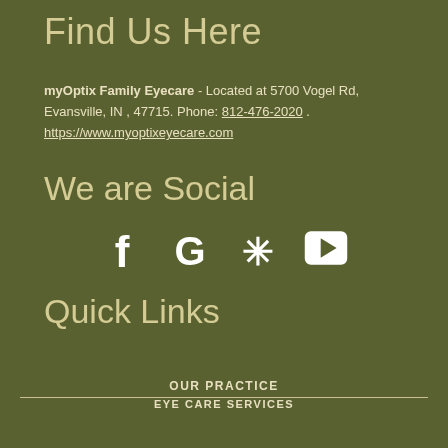Find Us Here
myOptix Family Eyecare - Located at 5700 Vogel Rd, Evansville, IN , 47715. Phone: 812-476-2020 . https://www.myoptixeyecare.com
We are Social
[Figure (infographic): Social media icons: Facebook (f), Google (G), Yelp (*), YouTube (play button in rounded rectangle)]
Quick Links
OUR PRACTICE
EYE CARE SERVICES